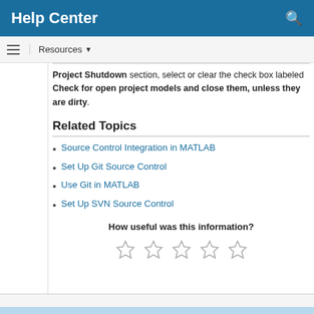Help Center
Project Shutdown section, select or clear the check box labeled Check for open project models and close them, unless they are dirty.
Related Topics
Source Control Integration in MATLAB
Set Up Git Source Control
Use Git in MATLAB
Set Up SVN Source Control
How useful was this information?